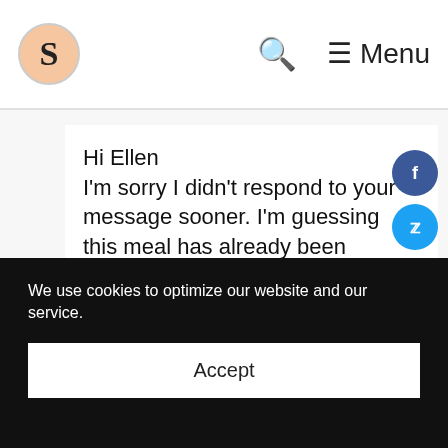S [logo] | Search | Menu
Hi Ellen
I'm sorry I didn't respond to your message sooner. I'm guessing this meal has already been enjoyed but wanted to share some information with you. Overall, the leaves will
[Figure (other): Social share sidebar with Facebook, Twitter, Pinterest, LinkedIn, and Email buttons]
We use cookies to optimize our website and our service.
Accept